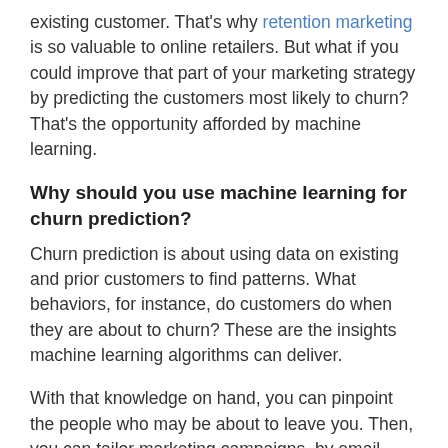existing customer. That's why retention marketing is so valuable to online retailers. But what if you could improve that part of your marketing strategy by predicting the customers most likely to churn? That's the opportunity afforded by machine learning.
Why should you use machine learning for churn prediction?
Churn prediction is about using data on existing and prior customers to find patterns. What behaviors, for instance, do customers do when they are about to churn? These are the insights machine learning algorithms can deliver.
With that knowledge on hand, you can pinpoint the people who may be about to leave you. Then, you can tailor marketing campaigns, by email, social media, or other channels, specifically to keep them on board.